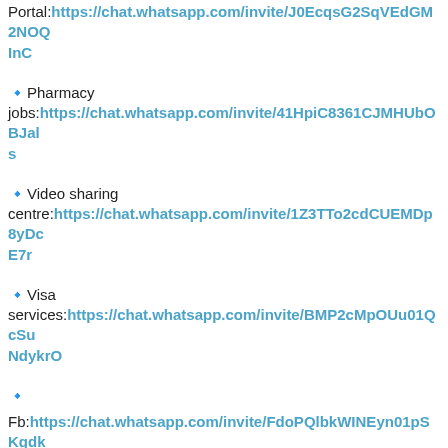Portal:https://chat.whatsapp.com/invite/J0EcqsG2SqVEdGM2NOQInC
🔹Pharmacy jobs:https://chat.whatsapp.com/invite/41HpiC8361CJMHUbOBJals
🔹Video sharing centre:https://chat.whatsapp.com/invite/1Z3TTo2cdCUEMDp8yDcE7r
🔹Visa services:https://chat.whatsapp.com/invite/BMP2cMpOUu01QcSuNdykrO
🔹
Fb:https://chat.whatsapp.com/invite/FdoPQlbkWINEyn01pSKgdk